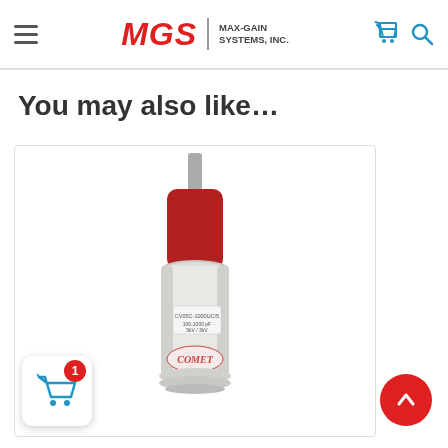MGS MAX-GAIN SYSTEMS, INC.
You may also like...
[Figure (photo): A Comet brand vacuum variable capacitor (model CV05C-1000UC/5, 100-1000 pF, 5kV/3kV) with a red cylindrical top and metallic cylindrical body on a white background.]